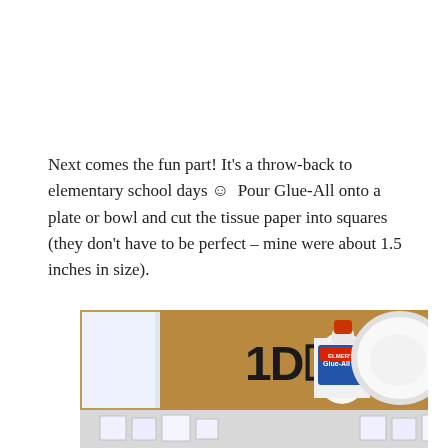Next comes the fun part!  It's a throw-back to elementary school days ☺  Pour Glue-All onto a plate or bowl and cut the tissue paper into squares (they don't have to be perfect – mine were about 1.5 inches in size).
[Figure (photo): Photo showing a bottle of Elmer's Glue-All lying on a cardboard surface next to a white paper and a white paper plate, with tissue paper squares visible in the lower portion of the image.]